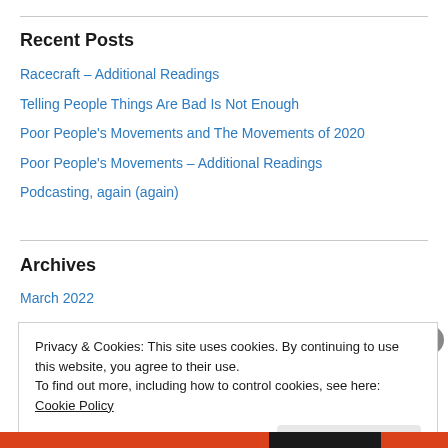Recent Posts
Racecraft – Additional Readings
Telling People Things Are Bad Is Not Enough
Poor People's Movements and The Movements of 2020
Poor People's Movements – Additional Readings
Podcasting, again (again)
Archives
March 2022
Privacy & Cookies: This site uses cookies. By continuing to use this website, you agree to their use. To find out more, including how to control cookies, see here: Cookie Policy
Close and accept